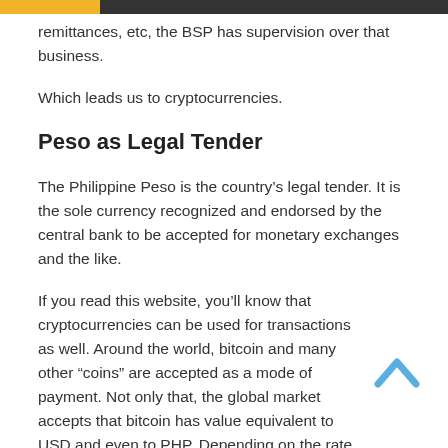remittances, etc, the BSP has supervision over that business.
Which leads us to cryptocurrencies.
Peso as Legal Tender
The Philippine Peso is the country’s legal tender. It is the sole currency recognized and endorsed by the central bank to be accepted for monetary exchanges and the like.
If you read this website, you’ll know that cryptocurrencies can be used for transactions as well. Around the world, bitcoin and many other “coins” are accepted as a mode of payment. Not only that, the global market accepts that bitcoin has value equivalent to USD and even to PHP. Depending on the rate, a cryptocurrency’s value may increase or decrease.
But the BSP does not recognize cryptocurrencies like